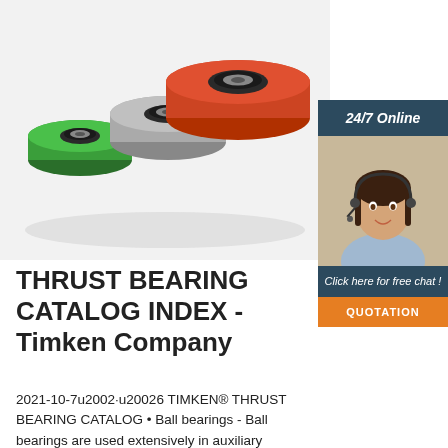[Figure (photo): Three colorful ball bearings with rubberized/plastic outer rings in green, gray, and red/orange colors arranged on a white background]
[Figure (infographic): Sidebar overlay showing '24/7 Online' header, a customer service representative with headset, 'Click here for free chat!' text, and 'QUOTATION' orange button]
THRUST BEARING CATALOG INDEX - Timken Company
2021-10-7u2002·u20026 TIMKEN® THRUST BEARING CATALOG • Ball bearings - Ball bearings are used extensively in auxiliary applications that have light loads and/or high-